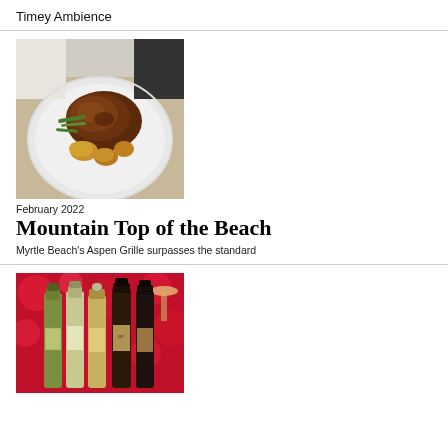Timey Ambience
[Figure (photo): A white plate with a roasted meat dish, green beans, and golden potatoes, held by a person in chef whites.]
February 2022
Mountain Top of the Beach
Myrtle Beach's Aspen Grille surpasses the standard
[Figure (photo): Five wine bottles of assorted varieties arranged against a red bokeh background with a wine glass visible.]